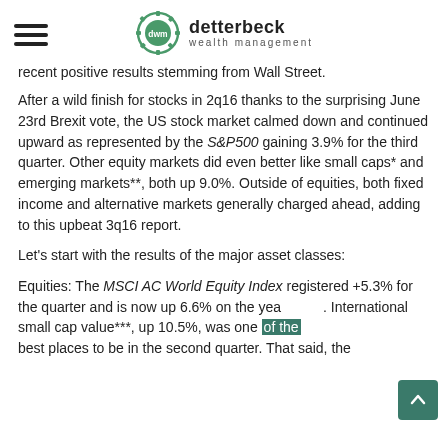detterbeck wealth management
recent positive results stemming from Wall Street.
After a wild finish for stocks in 2q16 thanks to the surprising June 23rd Brexit vote, the US stock market calmed down and continued upward as represented by the S&P500 gaining 3.9% for the third quarter. Other equity markets did even better like small caps* and emerging markets**, both up 9.0%. Outside of equities, both fixed income and alternative markets generally charged ahead, adding to this upbeat 3q16 report.
Let's start with the results of the major asset classes:
Equities: The MSCI AC World Equity Index registered +5.3% for the quarter and is now up 6.6% on the year. International small cap value***, up 10.5%, was one of the best places to be in the second quarter. That said, the